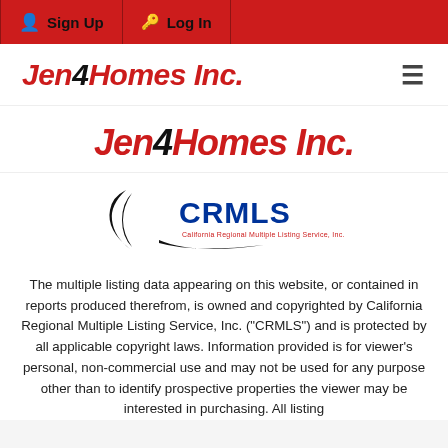Sign Up | Log In
Jen4Homes Inc.
Jen4Homes Inc.
[Figure (logo): CRMLS - California Regional Multiple Listing Service, Inc. logo with black swoosh arc and blue/red CRMLS text]
The multiple listing data appearing on this website, or contained in reports produced therefrom, is owned and copyrighted by California Regional Multiple Listing Service, Inc. ("CRMLS") and is protected by all applicable copyright laws. Information provided is for viewer's personal, non-commercial use and may not be used for any purpose other than to identify prospective properties the viewer may be interested in purchasing. All listing data including but not limited to square footage and lot size is